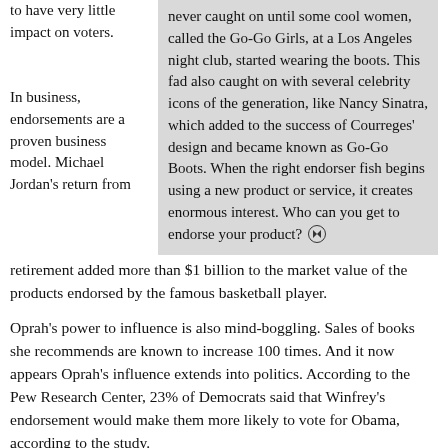to have very little impact on voters.
never caught on until some cool women, called the Go-Go Girls, at a Los Angeles night club, started wearing the boots. This fad also caught on with several celebrity icons of the generation, like Nancy Sinatra, which added to the success of Courreges' design and became known as Go-Go Boots. When the right endorser fish begins using a new product or service, it creates enormous interest. Who can you get to endorse your product?
In business, endorsements are a proven business model. Michael Jordan's return from retirement added more than $1 billion to the market value of the products endorsed by the famous basketball player.
Oprah's power to influence is also mind-boggling. Sales of books she recommends are known to increase 100 times. And it now appears Oprah's influence extends into politics. According to the Pew Research Center, 23% of Democrats said that Winfrey's endorsement would make them more likely to vote for Obama, according to the study.